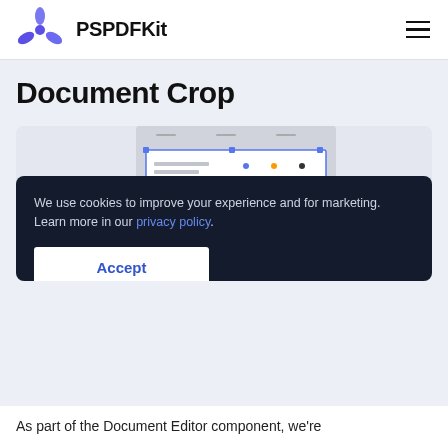PSPDFKit
Document Crop
[Figure (screenshot): Screenshot of PSPDFKit Document Editor showing a document with a crop tool icon overlay. The screenshot shows a document with colored circles (blue and orange) and a blue circular crop icon button.]
We use cookies to improve your experience and for marketing. Learn more in our privacy policy.
Accept
As part of the Document Editor component, we're